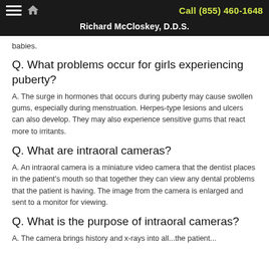Call (855) 460-1648 | Richard McCloskey, D.D.S.
babies.
Q. What problems occur for girls experiencing puberty?
A. The surge in hormones that occurs during puberty may cause swollen gums, especially during menstruation. Herpes-type lesions and ulcers can also develop. They may also experience sensitive gums that react more to irritants.
Q. What are intraoral cameras?
A. An intraoral camera is a miniature video camera that the dentist places in the patient's mouth so that together they can view any dental problems that the patient is having. The image from the camera is enlarged and sent to a monitor for viewing.
Q. What is the purpose of intraoral cameras?
A. They can also bring history and x-rays into all...the patient...